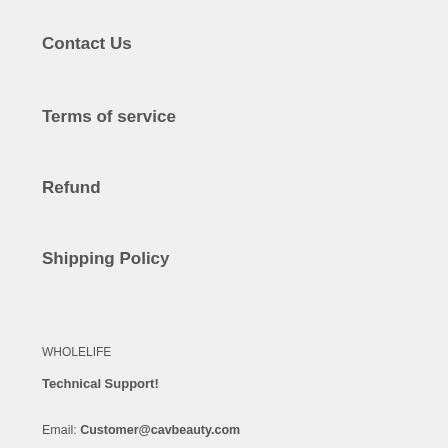Contact Us
Terms of service
Refund
Shipping Policy
WHOLELIFE
Technical Support!
Email: Customer@cavbeauty.com